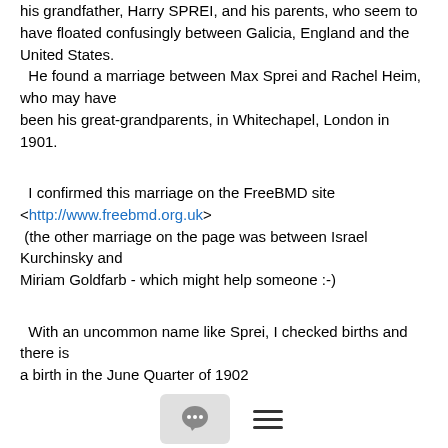his grandfather, Harry SPREI, and his parents, who seem to have floated confusingly between Galicia, England and the United States.
  He found a marriage between Max Sprei and Rachel Heim, who may have been his great-grandparents, in Whitechapel, London in 1901.
I confirmed this marriage on the FreeBMD site <http://www.freebmd.org.uk> (the other marriage on the page was between Israel Kurchinsky and Miriam Goldfarb - which might help someone :-)
With an uncommon name like Sprei, I checked births and there is a birth in the June Quarter of 1902
  Eve Sprei, Mile End Old Town 1c 444b
This looks like the Eva who landed with Regina (or Ruchel) in